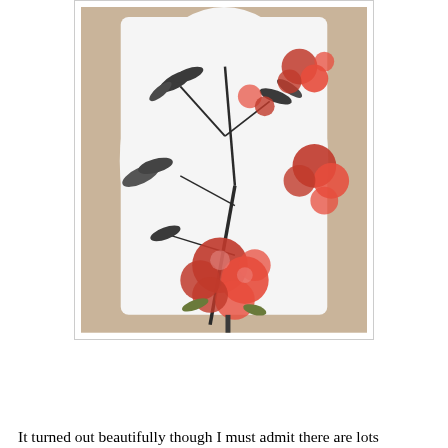[Figure (photo): A white garment/top displayed on a mannequin or hanger, featuring a floral print with red cherry blossoms and black ink-style bamboo branches in an East Asian artistic style. The background shows a warm wooden surface.]
It turned out beautifully though I must admit there are lots